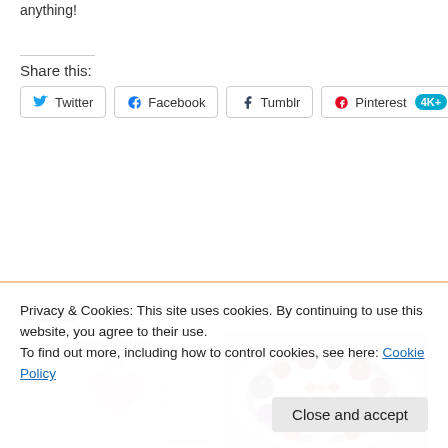anything!
Share this:
[Figure (screenshot): Social share buttons: Twitter, Facebook, Tumblr, Pinterest 4K+]
Related
[Figure (photo): Heart-shaped Pandora charm bead with pink floral design, script label above reading 'poetic blooms heart']
[Figure (photo): Pandora bracelet with red, purple and dark charms on a white plate]
Privacy & Cookies: This site uses cookies. By continuing to use this website, you agree to their use.
To find out more, including how to control cookies, see here: Cookie Policy
Close and accept